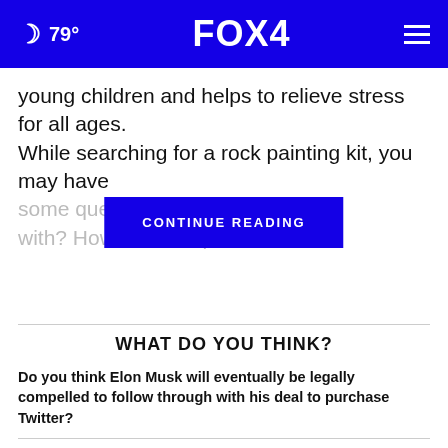🌙 79° FOX 4 ☰
young children and helps to relieve stress for all ages. While searching for a rock painting kit, you may have some questions… painting kit come with? How ma… ne of paint
CONTINUE READING
WHAT DO YOU THINK?
Do you think Elon Musk will eventually be legally compelled to follow through with his deal to purchase Twitter?
Yes, I think so
Maybe, I'm not sure
No, I don't think so
Other / No opinion